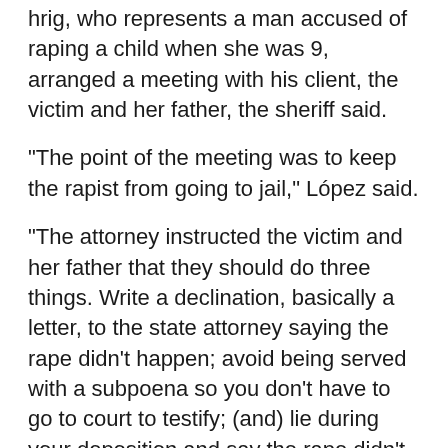hrig, who represents a man accused of raping a child when she was 9, arranged a meeting with his client, the victim and her father, the sheriff said.
"The point of the meeting was to keep the rapist from going to jail," López said.
"The attorney instructed the victim and her father that they should do three things. Write a declination, basically a letter, to the state attorney saying the rape didn't happen; avoid being served with a subpoena so you don't have to go to court to testify; (and) lie during your deposition and say the rape didn't happen," López said.
The victim's family told the state attorney's office about Uhrig's requests in July and the sheriff's sex crimes unit began investigating. The girl is now a teenager, the